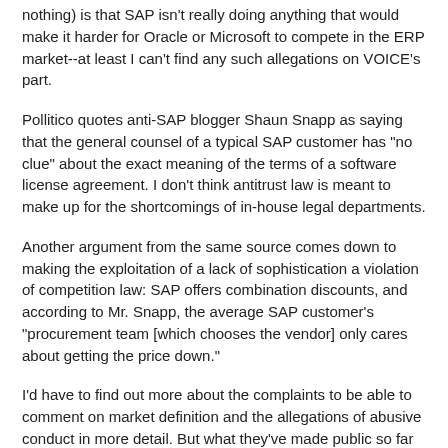nothing) is that SAP isn't really doing anything that would make it harder for Oracle or Microsoft to compete in the ERP market--at least I can't find any such allegations on VOICE's part.
Pollitico quotes anti-SAP blogger Shaun Snapp as saying that the general counsel of a typical SAP customer has "no clue" about the exact meaning of the terms of a software license agreement. I don't think antitrust law is meant to make up for the shortcomings of in-house legal departments.
Another argument from the same source comes down to making the exploitation of a lack of sophistication a violation of competition law: SAP offers combination discounts, and according to Mr. Snapp, the average SAP customer's "procurement team [which chooses the vendor] only cares about getting the price down."
I'd have to find out more about the complaints to be able to comment on market definition and the allegations of abusive conduct in more detail. But what they've made public so far is pathetic.